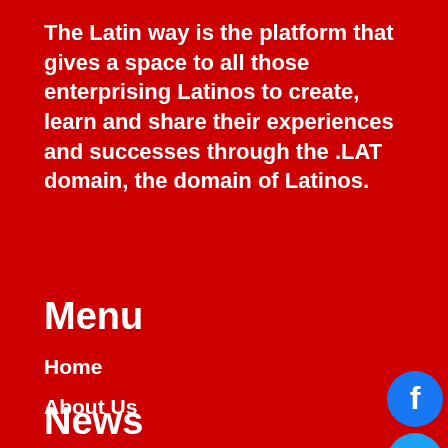The Latin way is the platform that gives a space to all those enterprising Latinos to create, learn and share their experiences and successes through the .LAT domain, the domain of Latinos.
Menu
Home
About Us
News
Legal notice
Privacy Notice
News